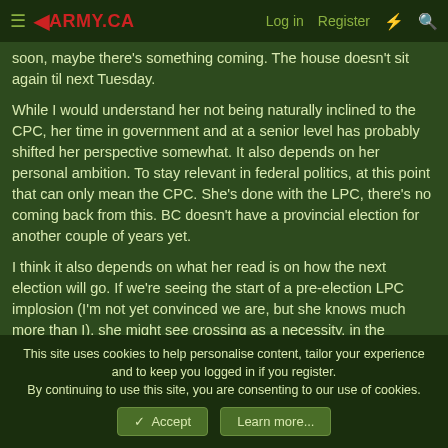≡ ◄ARMY.CA   Log in   Register   ⚡   🔍
soon, maybe there's something coming. The house doesn't sit again til next Tuesday.
While I would understand her not being naturally inclined to the CPC, her time in government and at a senior level has probably shifted her perspective somewhat. It also depends on her personal ambition. To stay relevant in federal politics, at this point that can only mean the CPC. She's done with the LPC, there's no coming back from this. BC doesn't have a provincial election for another couple of years yet.
I think it also depends on what her read is on how the next election will go. If we're seeing the start of a pre-election LPC implosion (I'm not yet convinced we are, but she knows much more than I), she might see crossing as a necessity, in the
This site uses cookies to help personalise content, tailor your experience and to keep you logged in if you register.
By continuing to use this site, you are consenting to our use of cookies.